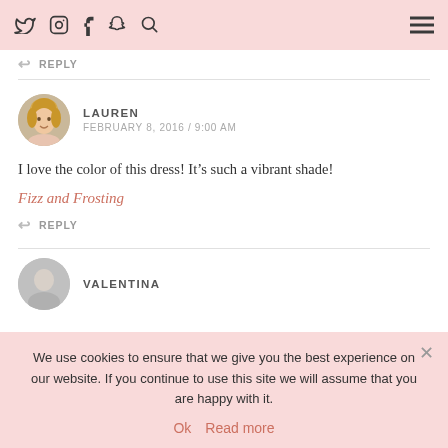Twitter Instagram Facebook Snapchat Search [hamburger menu]
REPLY
LAUREN
FEBRUARY 8, 2016 / 9:00 AM
I love the color of this dress! It's such a vibrant shade!
Fizz and Frosting
REPLY
VALENTINA
We use cookies to ensure that we give you the best experience on our website. If you continue to use this site we will assume that you are happy with it.
Ok  Read more